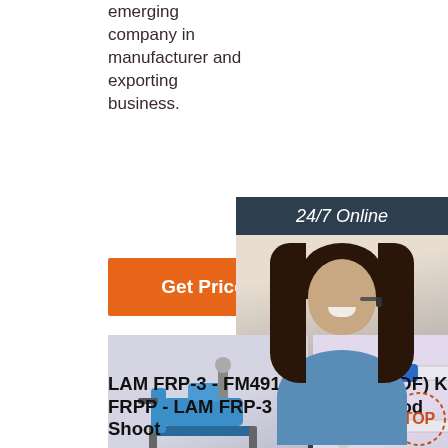emerging company in manufacturer and exporting business.
[Figure (screenshot): Orange 'Get Price' button]
[Figure (illustration): 24/7 Online customer service panel with woman wearing headset, 'Click here for free chat!' text, and orange QUOTATION button]
[Figure (photo): Dental chair unit product thumbnail]
[Figure (photo): Dental handpiece tools product thumbnail]
[Figure (photo): Third product thumbnail partially visible]
LAM FRP-3 - FM4910 FRPP - LAM FRP-3 Shoot
PVDF (PVDF) Kynar Sheet & Rod
Amazon.Com. Spend Less. Smile More.